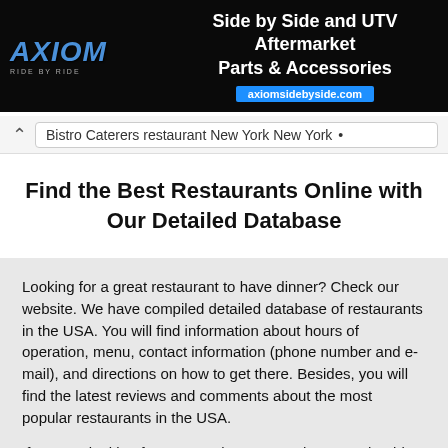[Figure (screenshot): Axiom Side by Side advertisement banner: dark background with Axiom logo in blue italic text, tagline 'Side by Side and UTV Aftermarket Parts & Accessories', and URL 'axiomsidebyside.com' on blue bar]
Bistro Caterers restaurant New York New York •
Find the Best Restaurants Online with Our Detailed Database
Looking for a great restaurant to have dinner? Check our website. We have compiled detailed database of restaurants in the USA. You will find information about hours of operation, menu, contact information (phone number and e-mail), and directions on how to get there. Besides, you will find the latest reviews and comments about the most popular restaurants in the USA.
If you are looking for a great place to eat, then you should definitely check out our website. We have a detailed database of restaurants that includes information about hours of operation, menu, contact information (phone number and e-mail), and directions on how to get there. Plus, you will find the latest reviews and comments about the most popular restaurants in the